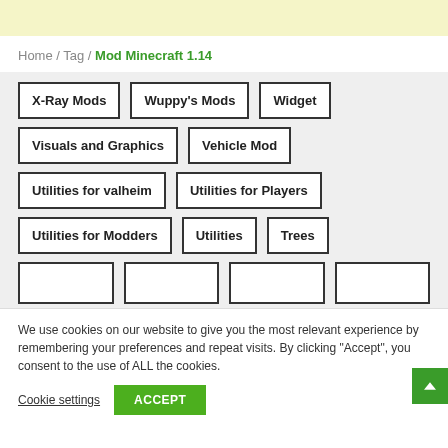Home / Tag / Mod Minecraft 1.14
X-Ray Mods
Wuppy's Mods
Widget
Visuals and Graphics
Vehicle Mod
Utilities for valheim
Utilities for Players
Utilities for Modders
Utilities
Trees
We use cookies on our website to give you the most relevant experience by remembering your preferences and repeat visits. By clicking “Accept”, you consent to the use of ALL the cookies.
Cookie settings  ACCEPT